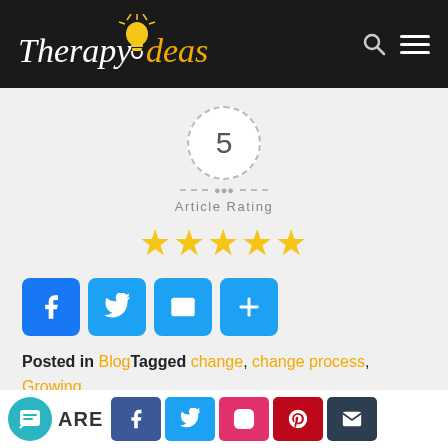Therapy Ideas
[Figure (infographic): Rating circle showing '5' with dashed border, 'Article Rating' label, and 5 gold stars]
[Figure (infographic): Social share buttons: Facebook, Twitter, Email, Plus]
Posted in Blog Tagged change, change process, Growing, personal change, personal development, Personal Growth, self awareness
3
SHARE — social buttons: Facebook, Twitter, Instagram, Pinterest, Email